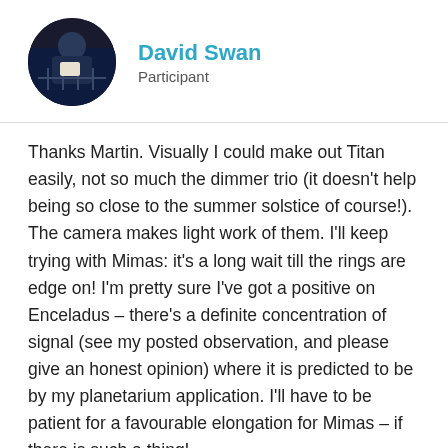[Figure (photo): Circular avatar photo of David Swan, dark night-time scene]
David Swan
Participant
Thanks Martin. Visually I could make out Titan easily, not so much the dimmer trio (it doesn't help being so close to the summer solstice of course!). The camera makes light work of them. I'll keep trying with Mimas: it's a long wait till the rings are edge on! I'm pretty sure I've got a positive on Enceladus – there's a definite concentration of signal (see my posted observation, and please give an honest opinion) where it is predicted to be by my planetarium application. I'll have to be patient for a favourable elongation for Mimas – if there is such a thing!
19 June 2017 at 9:56 pm
Damian Peach